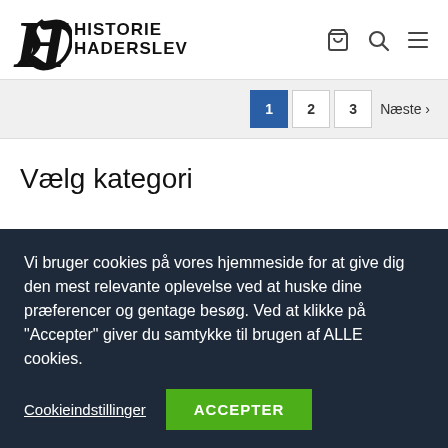[Figure (logo): Historié Haderslev blackletter logo with shopping cart, search, and menu icons]
1  2  3  Næste ›
Vælg kategori
Vi bruger cookies på vores hjemmeside for at give dig den mest relevante oplevelse ved at huske dine præferencer og gentage besøg. Ved at klikke på "Accepter" giver du samtykke til brugen af ALLE cookies.
Cookieindstillinger  ACCEPTER